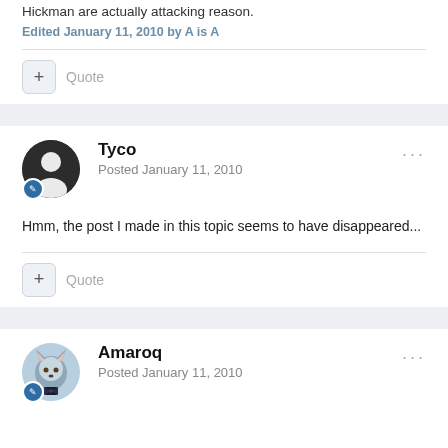Hickman are actually attacking reason.
Edited January 11, 2010 by A is A
Quote
Tyco
Posted January 11, 2010
Hmm, the post I made in this topic seems to have disappeared...
Quote
Amaroq
Posted January 11, 2010